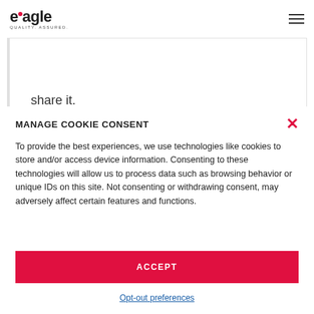eagle QUALITY. ASSURED.
share it.
MANAGE COOKIE CONSENT
To provide the best experiences, we use technologies like cookies to store and/or access device information. Consenting to these technologies will allow us to process data such as browsing behavior or unique IDs on this site. Not consenting or withdrawing consent, may adversely affect certain features and functions.
ACCEPT
Opt-out preferences